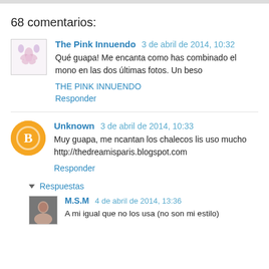68 comentarios:
The Pink Innuendo 3 de abril de 2014, 10:32
Qué guapa! Me encanta como has combinado el mono en las dos últimas fotos. Un beso
THE PINK INNUENDO
Responder
Unknown 3 de abril de 2014, 10:33
Muy guapa, me ncantan los chalecos lis uso mucho
http://thedreamisparis.blogspot.com
Responder
Respuestas
M.S.M 4 de abril de 2014, 13:36
A mi igual que no los usa (no son mi estilo)